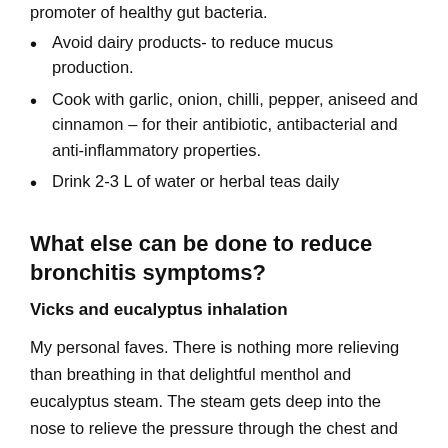promoter of healthy gut bacteria.
Avoid dairy products- to reduce mucus production.
Cook with garlic, onion, chilli, pepper, aniseed and cinnamon – for their antibiotic, antibacterial and anti-inflammatory properties.
Drink 2-3 L of water or herbal teas daily
What else can be done to reduce bronchitis symptoms?
Vicks and eucalyptus inhalation
My personal faves. There is nothing more relieving than breathing in that delightful menthol and eucalyptus steam. The steam gets deep into the nose to relieve the pressure through the chest and sinuses and release some of the mucus. It is a temporary fix, but it sure feels good! It is particularly good just before bed when we